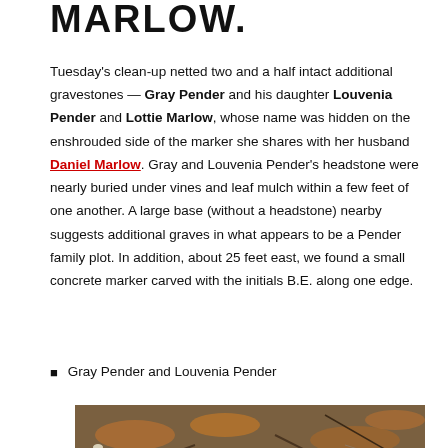MARLOW.
Tuesday's clean-up netted two and a half intact additional gravestones — Gray Pender and his daughter Louvenia Pender and Lottie Marlow, whose name was hidden on the enshrouded side of the marker she shares with her husband Daniel Marlow. Gray and Louvenia Pender's headstone were nearly buried under vines and leaf mulch within a few feet of one another. A large base (without a headstone) nearby suggests additional graves in what appears to be a Pender family plot. In addition, about 25 feet east, we found a small concrete marker carved with the initials B.E. along one edge.
Gray Pender and Louvenia Pender
[Figure (photo): Photograph of a weathered gravestone lying on the ground covered with dead leaves, twigs and fallen branches. The stone appears rounded and moss-covered, partially obscured by autumn leaves and a wire fence in the background.]